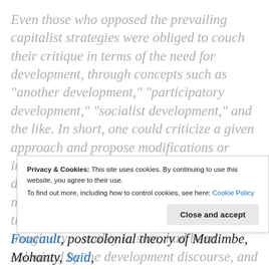Even those who opposed the prevailing capitalist strategies were obliged to couch their critique in terms of the need for development, through concepts such as “another development,” “participatory development,” “socialist development,” and the like. In short, one could criticize a given approach and propose modifications or improvements accordingly, but the fact of development itself, and the need for it, could not be doubted. Development had achieved the status of a certainty in the social imaginary… reality in sum, had been colonized by the development discourse, and those who were dissatisfied with this state of affairs had to struggle for bits and pieces of freedom within it, in the hope that in the
Privacy & Cookies: This site uses cookies. By continuing to use this website, you agree to their use.
To find out more, including how to control cookies, see here: Cookie Policy
Close and accept
Foucault, postcolonial theory of Mudimbe, Mohanty, Said,